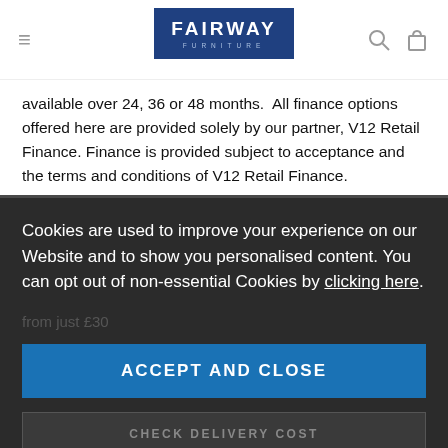FAIRWAY FURNITURE
available over 24, 36 or 48 months.  All finance options offered here are provided solely by our partner, V12 Retail Finance. Finance is provided subject to acceptance and the terms and conditions of V12 Retail Finance.
To find out more about our finance options please click here.
Cookies are used to improve your experience on our Website and to show you personalised content. You can opt out of non-essential Cookies by clicking here.
ACCEPT AND CLOSE
CHECK DELIVERY COST